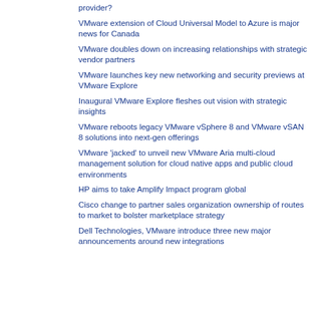provider?
VMware extension of Cloud Universal Model to Azure is major news for Canada
VMware doubles down on increasing relationships with strategic vendor partners
VMware launches key new networking and security previews at VMware Explore
Inaugural VMware Explore fleshes out vision with strategic insights
VMware reboots legacy VMware vSphere 8 and VMware vSAN 8 solutions into next-gen offerings
VMware 'jacked' to unveil new VMware Aria multi-cloud management solution for cloud native apps and public cloud environments
HP aims to take Amplify Impact program global
Cisco change to partner sales organization ownership of routes to market to bolster marketplace strategy
Dell Technologies, VMware introduce three new major announcements around new integrations